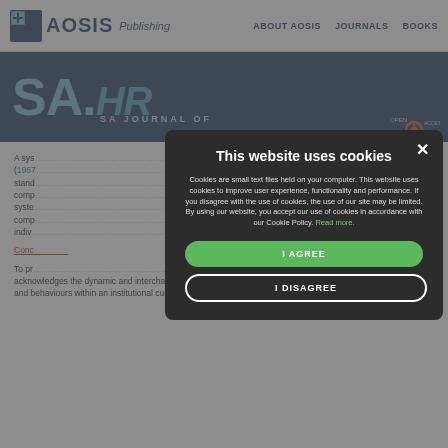AOSIS Publishing | ABOUT AOSIS | JOURNALS | BOOKS
[Figure (screenshot): AOSIS Publishing logo with SA Journal of Human Resource Management header and Open Access badge on dark blue band]
A sys... (1967... stands... compa... syste... compa... indivi...
Conc...
To pr... nn diagram is utilised, as it acknowledges the dynamic and interchangeable nature, as well as the potential overlap of the values, practices and behaviours within an institutional culture (Shade & Handelsman, 2012) (see Figure 1).
[Figure (screenshot): Cookie consent modal dialog with title 'This website uses cookies', body text about cookie policy, I AGREE green button, and I DISAGREE outlined button]
This website uses cookies
Cookies are small text files held on your computer. This website uses cookies to improve user experience, functionality and performance. If you disagree with the use of cookies, the use of our site may be limited. By using our website, you accept our use of cookies in accordance with our Cookie Policy. Read more.
I AGREE
I DISAGREE